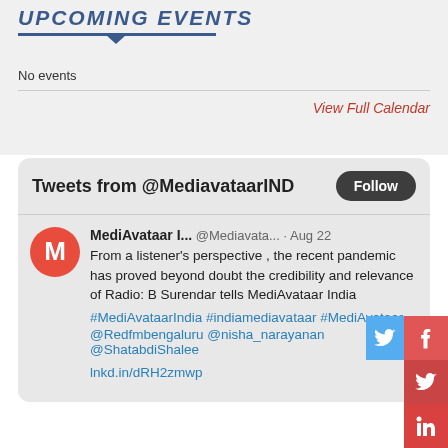UPCOMING EVENTS
No events
View Full Calendar
Tweets from @MediavataarIND
MediAvataar I... @Mediavata... · Aug 22
From a listener's perspective , the recent pandemic has proved beyond doubt the credibility and relevance of Radio: B Surendar tells MediAvataar India
#MediAvataarIndia #indiamediavataar #MediAvataar
@Redfmbengaluru @nisha_narayanan @ShatabdiShalee

lnkd.in/dRH2zmwp